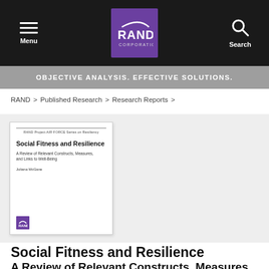Menu | RAND Corporation | Search
OBJECTIVE ANALYSIS. EFFECTIVE SOLUTIONS.
RAND > Published Research > Research Reports >
[Figure (illustration): Cover of RAND report: Social Fitness and Resilience — A Review of Relevant Constructs, Measures, and Links to Well-Being, by Juliana McGene. RAND Project AIR FORCE Series on Resiliency.]
Social Fitness and Resilience
A Review of Relevant Constructs, Measures,